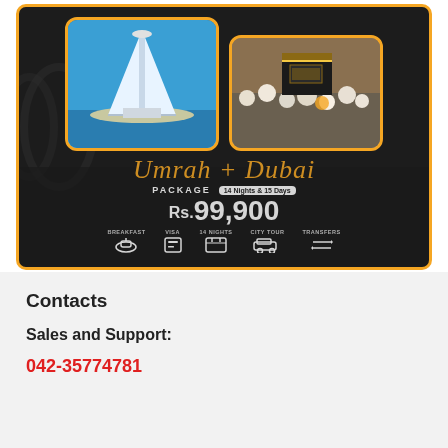[Figure (infographic): Umrah + Dubai Package advertisement. Dark background with gold border. Shows Burj Al Arab hotel photo and Kaaba/pilgrims photo. Text: 'Umrah + Dubai PACKAGE 14 Nights & 15 Days Rs.99,900'. Icons for BREAKFAST, VISA, 14 NIGHTS, CITY TOUR, TRANSFERS.]
Contacts
Sales and Support:
042-35774781